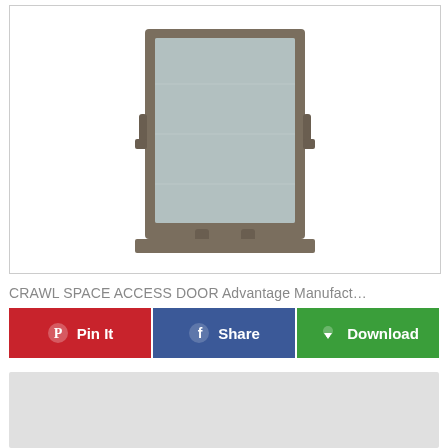[Figure (photo): Product photo of a crawl space access door — rectangular metal-framed door with bronze/dark aluminum frame and frosted glass panel, shown at a slight angle with latches visible on sides and bottom.]
CRAWL SPACE ACCESS DOOR Advantage Manufact...
[Figure (screenshot): Action bar with three buttons: red 'Pin It' button with Pinterest icon, blue 'Share' button with Facebook icon, and green 'Download' button with download icon.]
[Figure (photo): Partially visible second product image with light gray background.]